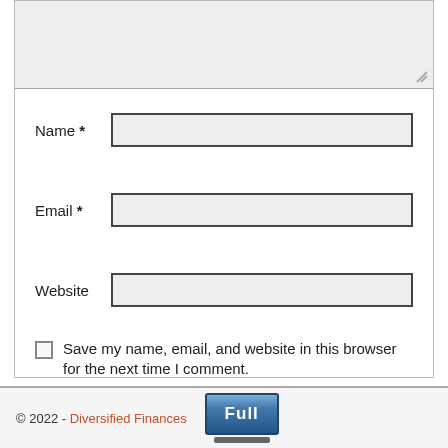[Figure (screenshot): Comment form with textarea (partially visible at top), Name field with asterisk, Email field with asterisk, Website field, Save my name/email/website checkbox with text, Post Comment button, Confirm you are NOT a spammer checkbox]
Name *
Email *
Website
Save my name, email, and website in this browser for the next time I comment.
Post Comment
Confirm you are NOT a spammer
© 2022 - Diversified Finances